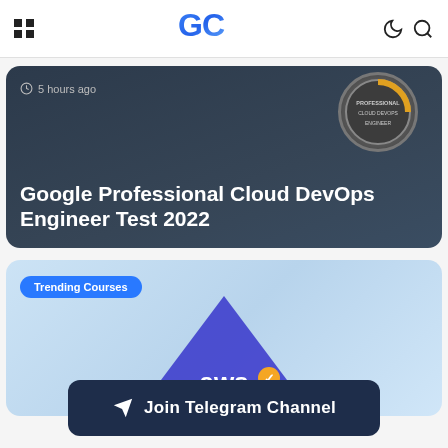GC — navigation bar with grid icon, GC logo, moon icon, search icon
[Figure (screenshot): Google Professional Cloud DevOps Engineer Test 2022 article card with dark background, clock icon showing 5 hours ago, and DevOps Engineer badge logo]
5 hours ago
Google Professional Cloud DevOps Engineer Test 2022
[Figure (screenshot): Trending Courses card with light blue background showing AWS certified logo with blue triangle shape]
Trending Courses
aws
Join Telegram Channel